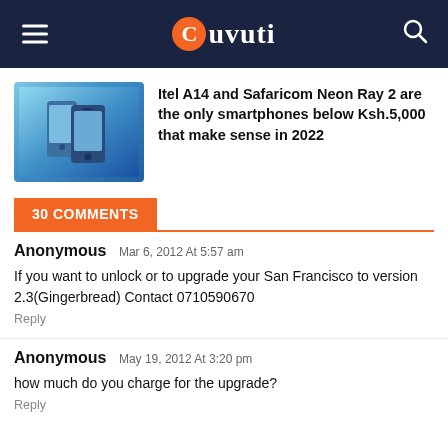Cuvuti
[Figure (photo): Promotional image of Itel A14 and Safaricom Neon Ray 2 smartphones on blue gradient background]
Itel A14 and Safaricom Neon Ray 2 are the only smartphones below Ksh.5,000 that make sense in 2022
30 COMMENTS
Anonymous Mar 6, 2012 At 5:57 am
If you want to unlock or to upgrade your San Francisco to version 2.3(Gingerbread) Contact 0710590670
Reply
Anonymous May 19, 2012 At 3:20 pm
how much do you charge for the upgrade?
Reply